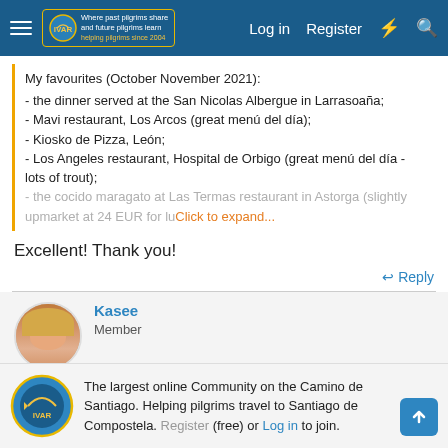Navigation bar with hamburger menu, IVAR logo, Log in, Register, and search icons
My favourites (October November 2021):
- the dinner served at the San Nicolas Albergue in Larrasoaña;
- Mavi restaurant, Los Arcos (great menú del día);
- Kiosko de Pizza, León;
- Los Angeles restaurant, Hospital de Orbigo (great menú del día - lots of trout);
- the cocido maragato at Las Termas restaurant in Astorga (slightly upmarket at 24 EUR for lu...
Click to expand...
Excellent! Thank you!
Reply
Kasee
Member
The largest online Community on the Camino de Santiago. Helping pilgrims travel to Santiago de Compostela. Register (free) or Log in to join.